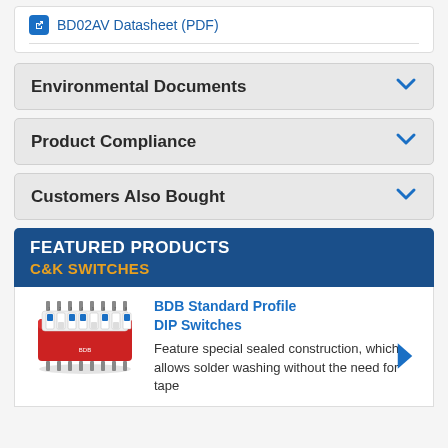BD02AV Datasheet (PDF)
Environmental Documents
Product Compliance
Customers Also Bought
FEATURED PRODUCTS
C&K SWITCHES
[Figure (photo): Red DIP switch component, BDB Standard Profile DIP Switch, red rectangular body with white toggle switches on top and metal pins below]
BDB Standard Profile DIP Switches
Feature special sealed construction, which allows solder washing without the need for tape